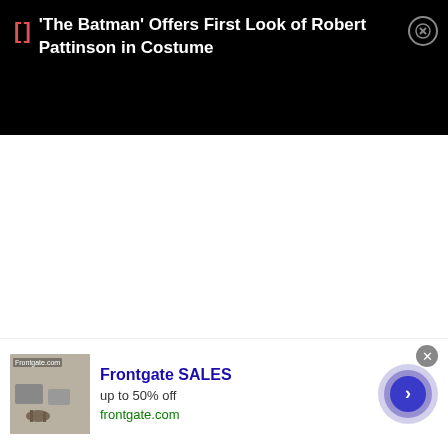[Figure (screenshot): Mobile notification/push banner with black background showing article headline about 'The Batman' with Robert Pattinson, with a red bracket icon, white headline text, and a circular close button]
[Figure (screenshot): Advertisement banner for Frontgate SALES showing up to 50% off, with an outdoor furniture product image, blue title text, green URL, and a circular next/arrow button]